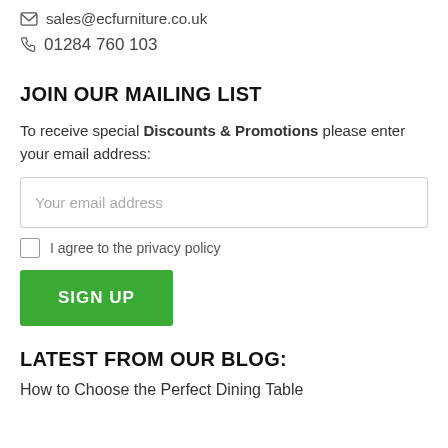sales@ecfurniture.co.uk
01284 760 103
JOIN OUR MAILING LIST
To receive special Discounts & Promotions please enter your email address:
Your email address
I agree to the privacy policy
SIGN UP
LATEST FROM OUR BLOG:
How to Choose the Perfect Dining Table